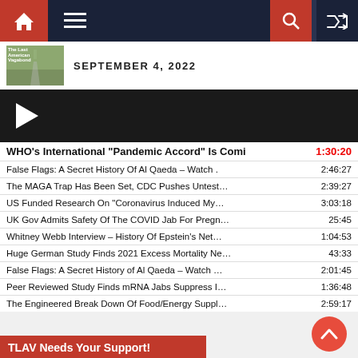Navigation bar with home, menu, search, random icons
SEPTEMBER 4, 2022
[Figure (screenshot): Black video player bar with white play button triangle]
WHO's International "Pandemic Accord" Is Comi... 1:30:20
False Flags: A Secret History Of Al Qaeda – Watch ... 2:46:27
The MAGA Trap Has Been Set, CDC Pushes Untest... 2:39:27
US Funded Research On "Coronavirus Induced My... 3:03:18
UK Gov Admits Safety Of The COVID Jab For Pregn... 25:45
Whitney Webb Interview – History Of Epstein's Net... 1:04:53
Huge German Study Finds 2021 Excess Mortality Ne... 43:33
False Flags: A Secret History of Al Qaeda – Watch ... 2:01:45
Peer Reviewed Study Finds mRNA Jabs Suppress I... 1:36:48
The Engineered Break Down Of Food/Energy Suppl... 2:59:17
TLAV Needs Your Support!